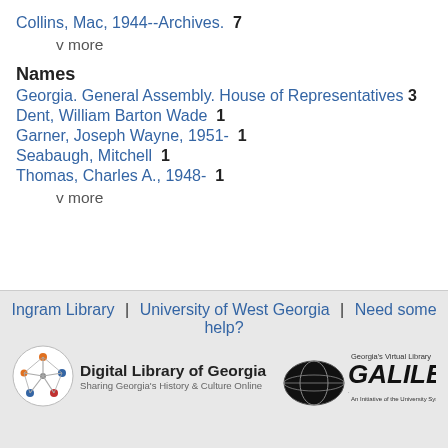Collins, Mac, 1944--Archives.  7
v more
Names
Georgia. General Assembly. House of Representatives  3
Dent, William Barton Wade  1
Garner, Joseph Wayne, 1951-  1
Seabaugh, Mitchell  1
Thomas, Charles A., 1948-  1
v more
Ingram Library  |  University of West Georgia  |  Need some help?  Digital Library of Georgia — Sharing Georgia's History & Culture Online  GALILEO — Georgia's Virtual Library, An Initiative of the University System of Georgia